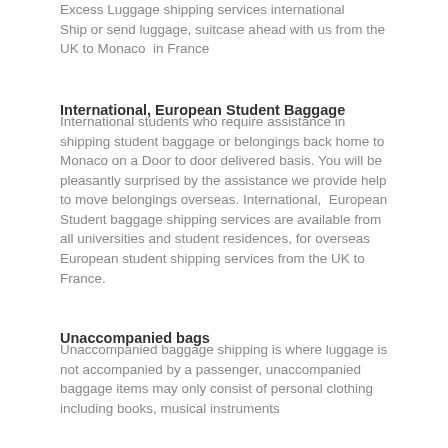Excess Luggage shipping services international
Ship or send luggage, suitcase ahead with us from the UK to Monaco  in France
International, European Student Baggage
International students who require assistance in shipping student baggage or belongings back home to Monaco on a Door to door delivered basis. You will be pleasantly surprised by the assistance we provide help to move belongings overseas. International,  European Student baggage shipping services are available from all universities and student residences, for overseas European student shipping services from the UK to France.
Unaccompanied bags
Unaccompanied baggage shipping is where luggage is not accompanied by a passenger, unaccompanied baggage items may only consist of personal clothing including books, musical instruments